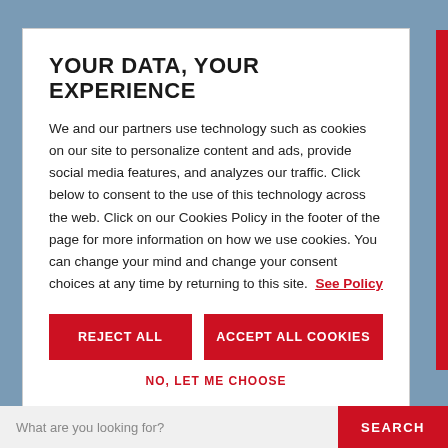YOUR DATA, YOUR EXPERIENCE
We and our partners use technology such as cookies on our site to personalize content and ads, provide social media features, and analyzes our traffic. Click below to consent to the use of this technology across the web. Click on our Cookies Policy in the footer of the page for more information on how we use cookies. You can change your mind and change your consent choices at any time by returning to this site. See Policy
REJECT ALL
ACCEPT ALL COOKIES
NO, LET ME CHOOSE
What are you looking for?
SEARCH